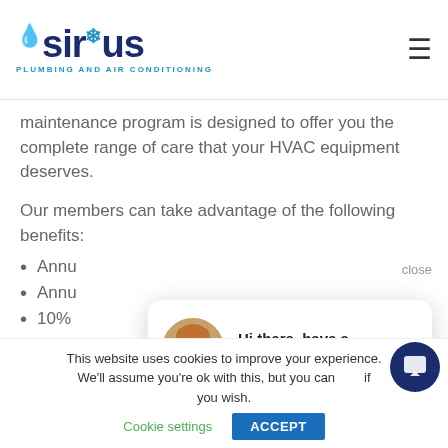Sirius Plumbing and Air Conditioning
maintenance program is designed to offer you the complete range of care that your HVAC equipment deserves.
Our members can take advantage of the following benefits:
Annu...
Annu...
10%...
[Figure (screenshot): Chat popup with avatar of a woman, text: Hi there, have a question? Text us here.]
This website uses cookies to improve your experience. We'll assume you're ok with this, but you can opt-out if you wish.
Cookie settings   ACCEPT